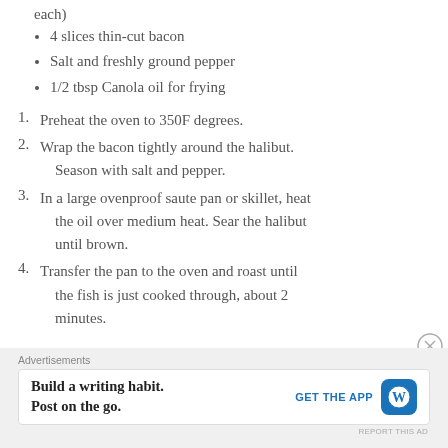each)
4 slices thin-cut bacon
Salt and freshly ground pepper
1/2 tbsp Canola oil for frying
Preheat the oven to 350F degrees.
Wrap the bacon tightly around the halibut. Season with salt and pepper.
In a large ovenproof saute pan or skillet, heat the oil over medium heat. Sear the halibut until brown.
Transfer the pan to the oven and roast until the fish is just cooked through, about 2 minutes.
Advertisements
Build a writing habit. Post on the go. GET THE APP